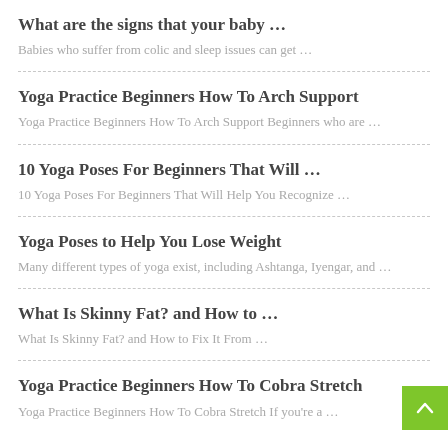What are the signs that your baby …
Babies who suffer from colic and sleep issues can get …
Yoga Practice Beginners How To Arch Support
Yoga Practice Beginners How To Arch Support Beginners who are …
10 Yoga Poses For Beginners That Will …
10 Yoga Poses For Beginners That Will Help You Recognize …
Yoga Poses to Help You Lose Weight
Many different types of yoga exist, including Ashtanga, Iyengar, and …
What Is Skinny Fat? and How to …
What Is Skinny Fat? and How to Fix It From …
Yoga Practice Beginners How To Cobra Stretch
Yoga Practice Beginners How To Cobra Stretch If you're a …